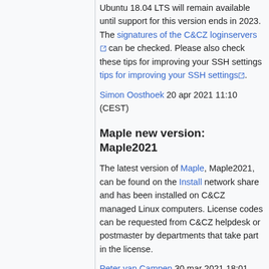Ubuntu 18.04 LTS will remain available until support for this version ends in 2023. The signatures of the C&CZ loginservers can be checked. Please also check these tips for improving your SSH settings tips for improving your SSH settings.
Simon Oosthoek 20 apr 2021 11:10 (CEST)
Maple new version: Maple2021
The latest version of Maple, Maple2021, can be found on the Install network share and has been installed on C&CZ managed Linux computers. License codes can be requested from C&CZ helpdesk or postmaster by departments that take part in the license.
Peter van Campen 30 mar 2021 18:01 (CEST)